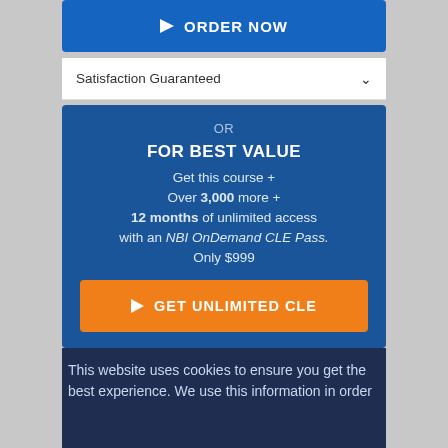[Figure (screenshot): Blue ORDER NOW button with play icon]
Satisfaction Guaranteed
OR
FOR BEST VALUE
Get this course +
Over 3,000 more +
12 months of unlimited access
with an NBI OnDemand CLE Pass.
Only $999
[Figure (screenshot): Orange GET UNLIMITED CLE button with play icon]
This website uses cookies to ensure you get the best experience. We use this information in order